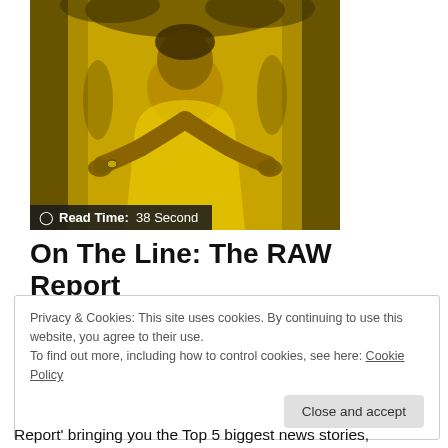[Figure (photo): Yellow-tinted photo of a person in white clothing, arms extended forward, with foliage visible in the background. A dark overlay strip at the bottom shows a read time badge.]
On The Line: The RAW Report
Privacy & Cookies: This site uses cookies. By continuing to use this website, you agree to their use.
To find out more, including how to control cookies, see here: Cookie Policy

Close and accept
Report' bringing you the Top 5 biggest news stories,